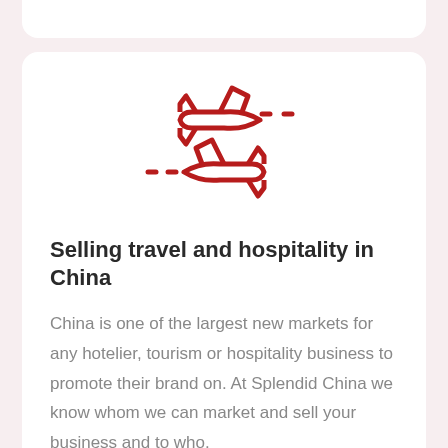[Figure (illustration): Two red airplane icons with dashed motion lines, one pointing left and one pointing right, forming a transfer/exchange symbol]
Selling travel and hospitality in China
China is one of the largest new markets for any hotelier, tourism or hospitality business to promote their brand on. At Splendid China we know whom we can market and sell your business and to who.